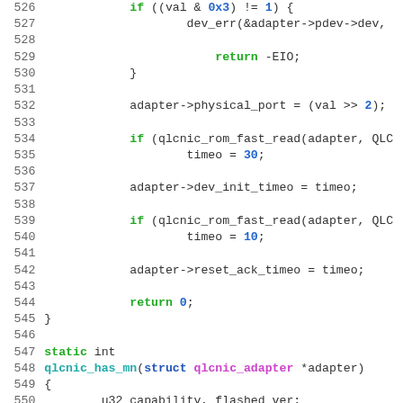[Figure (screenshot): Source code listing in C, lines 526–552, showing code for qlcnic device driver functions with syntax highlighting: green keywords, blue numbers, magenta types, teal function names.]